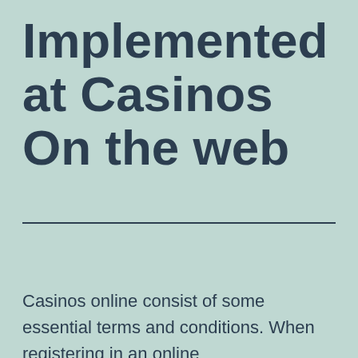Implemented at Casinos On the web
Casinos online consist of some essential terms and conditions. When registering in an online